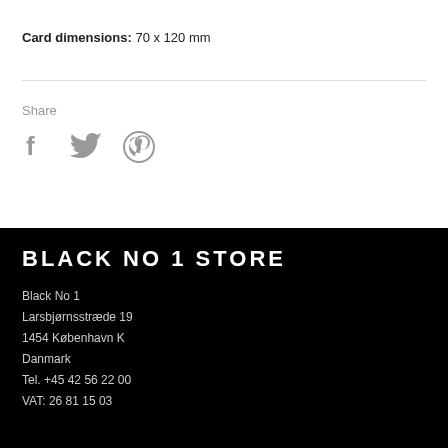Card dimensions: 70 x 120 mm
Share
[Figure (other): Social media share icons: Facebook (f), Twitter (bird), Pinterest (p)]
BLACK NO 1 STORE
Black No 1
Larsbjørnsstræde 19
1454 København K
Danmark
Tel. +45 42 56 22 00
VAT: 26 81 15 03